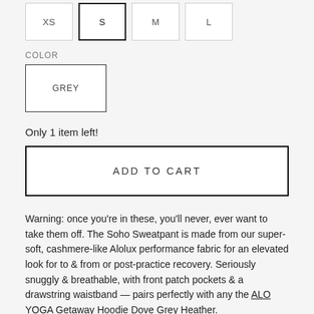XS  S  M  L
COLOR
GREY
Only 1 item left!
ADD TO CART
Warning: once you're in these, you'll never, ever want to take them off. The Soho Sweatpant is made from our super-soft, cashmere-like Alolux performance fabric for an elevated look for to & from or post-practice recovery. Seriously snuggly & breathable, with front patch pockets & a drawstring waistband — pairs perfectly with any the ALO YOGA Getaway Hoodie Dove Grey Heather.